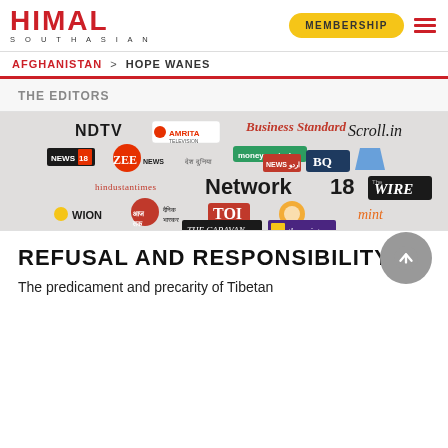HIMAL SOUTHASIAN | MEMBERSHIP
AFGHANISTAN > HOPE WANES
THE EDITORS
[Figure (photo): Collage of Indian media outlet logos including NDTV, Amrita Television, Business Standard, Scroll.in, News18, Zee News, moneycontrol, Desh Duniya, News18 Urdu, BQ Prime, Hindustan Times, Network 18, The Wire, WION, Aaj Tak, Dainik Bhaskar, TOI, Sun TV, mint, The Caravan, The Quint, NewsLaundry, The Indian Express]
REFUSAL AND RESPONSIBILITY
The predicament and precarity of Tibetan